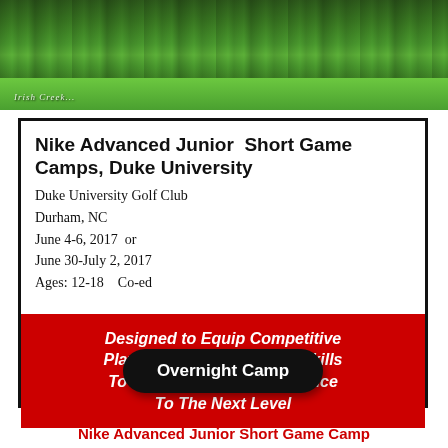[Figure (photo): Aerial/landscape photo of a golf course fairway with dense green tree line in the background. Label reads 'IRISH CREEK' in the lower left.]
Nike Advanced Junior Short Game Camps, Duke University
Duke University Golf Club
Durham, NC
June 4-6, 2017  or
June 30-July 2, 2017
Ages: 12-18    Co-ed
Designed to Equip Competitive Players With The Scoring Skills To Elevate Their Performance To The Next Level
Overnight Camp
Nike Advanced Junior Short Game Camp